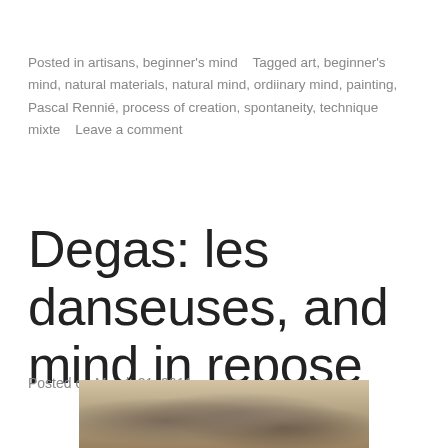Posted in artisans, beginner's mind    Tagged art, beginner's mind, natural materials, natural mind, ordiinary mind, painting, Pascal Rennié, process of creation, spontaneity, technique mixte    Leave a comment
Degas: les danseuses, and mind in repose
Posted on March 21, 2011
[Figure (photo): Partial view of a painting or drawing, appears to be a figure study, warm beige and brown tones, cropped at bottom of page]